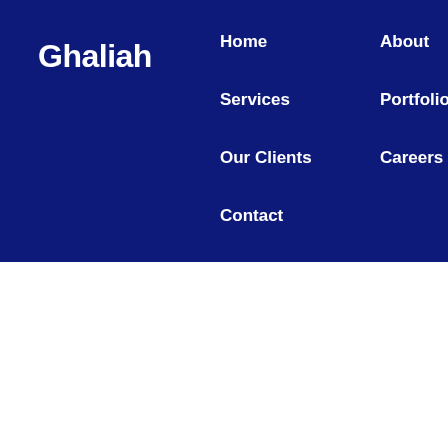Ghaliah
Home
About
Services
Portfolio
Our Clients
Careers
Contact
Social Media Team Leader
← Go Back